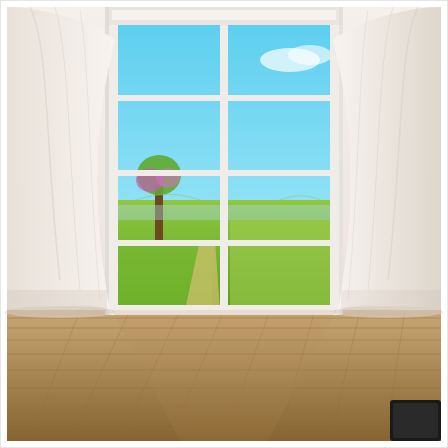[Figure (photo): Interior room scene with large white-framed window showing a sunny outdoor landscape with green fields, blue sky, and flowering trees. White sheer curtains drape on both sides of the window. A light wood plank floor extends in the foreground. A small dark object appears in the lower right corner.]